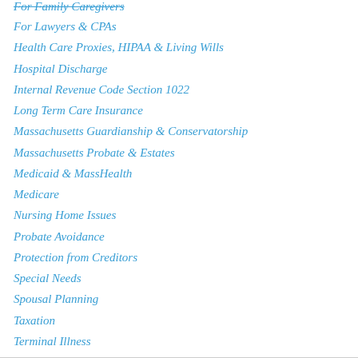For Family Caregivers
For Lawyers & CPAs
Health Care Proxies, HIPAA & Living Wills
Hospital Discharge
Internal Revenue Code Section 1022
Long Term Care Insurance
Massachusetts Guardianship & Conservatorship
Massachusetts Probate & Estates
Medicaid & MassHealth
Medicare
Nursing Home Issues
Probate Avoidance
Protection from Creditors
Special Needs
Spousal Planning
Taxation
Terminal Illness
Trusts
Wills